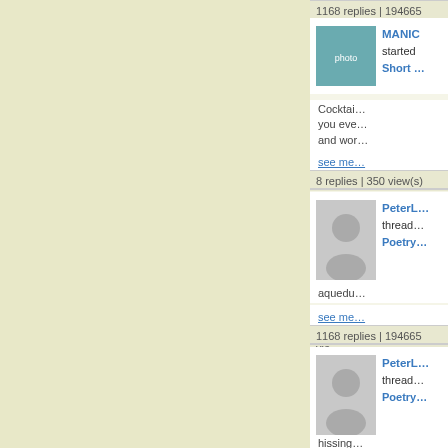1168 replies | 194665 vie...
[Figure (photo): User avatar photo of MANIC, showing a man in yellow shirt]
MANIC started Short ...
Cocktai... you eve... and wor...
see me...
8 replies | 350 view(s)
[Figure (photo): Placeholder avatar for PeterL]
PeterL thread... Poetry...
aquedu...
see me...
1168 replies | 194665 vie...
[Figure (photo): Placeholder avatar for PeterL]
PeterL thread... Poetry...
hissing